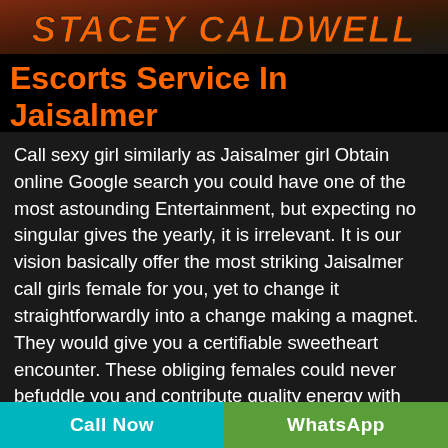[Figure (photo): Banner image with orange stylized text overlay on a dark background, showing partial female figure]
Escorts Service In Jaisalmer
Call sexy girl similarly as Jaisalmer girl Obtain online Google search you could have one of the most astounding Entertainment, but expecting no singular gives the yearly, it is irrelevant. It is our vision basically offer the most striking Jaisalmer call girls female for you, yet to change it straightforwardly into a change making a magnet. They would give you a certifiable sweetheart encounter. These obliging females could never befuddle you and contribute quality energy with you other than satisfying your real necessities. You basically need to see them as your dear and they would be in the individual. Fit call sexy girl in Jaisalmer come up from renowned areas of the
Call Now | WhatsApp